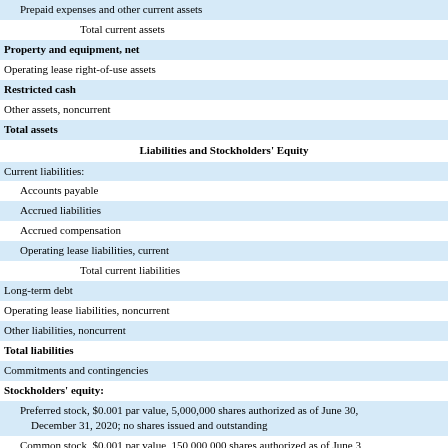| Prepaid expenses and other current assets |
| Total current assets |
| Property and equipment, net |
| Operating lease right-of-use assets |
| Restricted cash |
| Other assets, noncurrent |
| Total assets |
| Liabilities and Stockholders' Equity |
| Current liabilities: |
| Accounts payable |
| Accrued liabilities |
| Accrued compensation |
| Operating lease liabilities, current |
| Total current liabilities |
| Long-term debt |
| Operating lease liabilities, noncurrent |
| Other liabilities, noncurrent |
| Total liabilities |
| Commitments and contingencies |
| Stockholders' equity: |
| Preferred stock, $0.001 par value, 5,000,000 shares authorized as of June 30, December 31, 2020; no shares issued and outstanding |
| Common stock, $0.001 par value, 150,000,000 shares authorized as of June 3 December 31, 2020, respectively; 62,379,118 and 61,898,090 shares issued June 30, 2021 (unaudited) and December 31, 2020, respectively |
| Additional paid-in capital |
| Accumulated other comprehensive loss |
| Accumulated deficit |